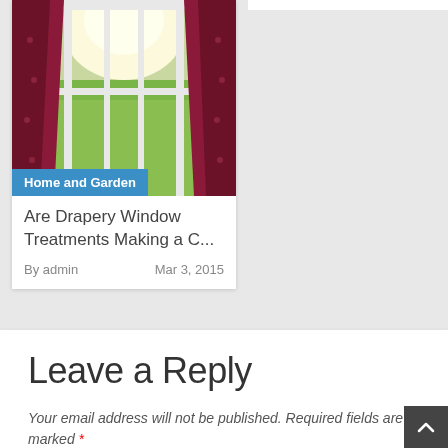[Figure (photo): Window with open white French doors, red drapery curtains on sides, bright green countryside visible outside]
Home and Garden
Are Drapery Window Treatments Making a C...
By admin    Mar 3, 2015
Leave a Reply
Your email address will not be published. Required fields are marked *